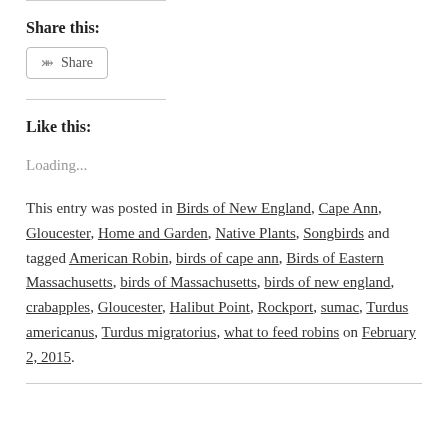Share this:
Share (button)
Like this:
Loading...
This entry was posted in Birds of New England, Cape Ann, Gloucester, Home and Garden, Native Plants, Songbirds and tagged American Robin, birds of cape ann, Birds of Eastern Massachusetts, birds of Massachusetts, birds of new england, crabapples, Gloucester, Halibut Point, Rockport, sumac, Turdus americanus, Turdus migratorius, what to feed robins on February 2, 2015.